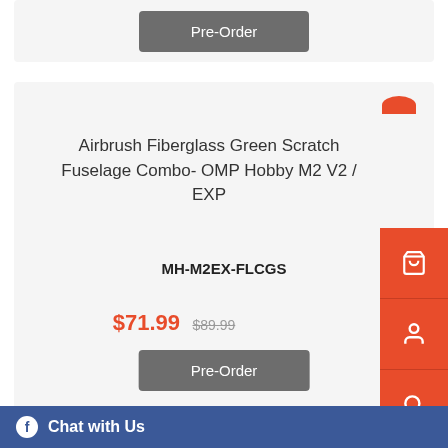[Figure (screenshot): Pre-Order button (gray) at top of first product card, partially visible]
Airbrush Fiberglass Green Scratch Fuselage Combo- OMP Hobby M2 V2 / EXP
MH-M2EX-FLCGS
$71.99  $89.99
[Figure (screenshot): Pre-Order button (gray) for second product card]
[Figure (screenshot): Right sidebar with orange background showing cart, user, search, and eye icons]
Airbrush Fiberg...
[Figure (screenshot): Facebook Chat with Us bar at bottom of page]